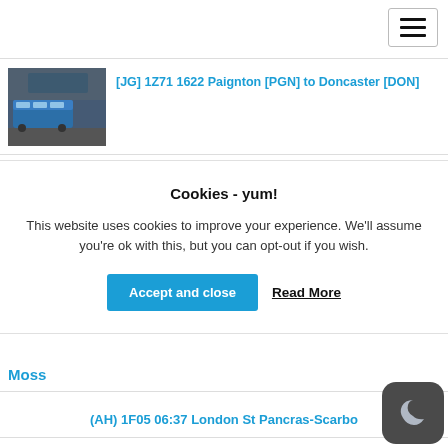Navigation bar with hamburger menu
[JG] 1Z71 1622 Paignton [PGN] to Doncaster [DON]
Cookies - yum!
This website uses cookies to improve your experience. We'll assume you're ok with this, but you can opt-out if you wish.
Accept and close   Read More
Moss
(AH) 1F05 06:37 London St Pancras-Scarbo